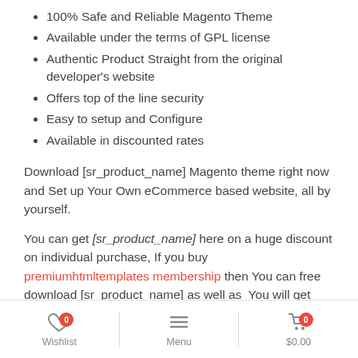100% Safe and Reliable Magento Theme
Available under the terms of GPL license
Authentic Product Straight from the original developer's website
Offers top of the line security
Easy to setup and Configure
Available in discounted rates
Download [sr_product_name] Magento theme right now and Set up Your Own eCommerce based website, all by yourself.
You can get [sr_product_name] here on a huge discount on individual purchase, If you buy premiumhtmltemplates membership then You can free download [sr_product_name] as well as  You will get access to all the products ([product_count]) free like